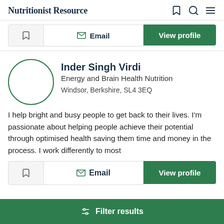Nutritionist Resource
Email | View profile
Inder Singh Virdi
Energy and Brain Health Nutrition
Windsor, Berkshire, SL4 3EQ
I help bright and busy people to get back to their lives. I'm passionate about helping people achieve their potential through optimised health saving them time and money in the process. I work differently to most
Email | View profile
Filter results